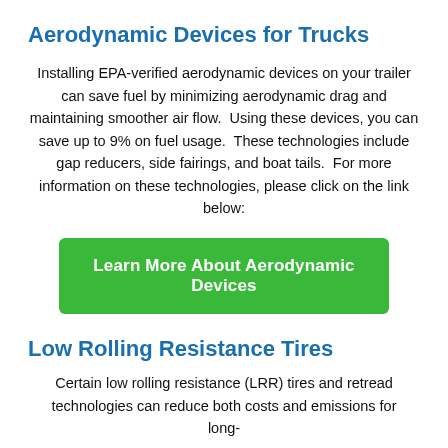Aerodynamic Devices for Trucks
Installing EPA-verified aerodynamic devices on your trailer can save fuel by minimizing aerodynamic drag and maintaining smoother air flow.  Using these devices, you can save up to 9% on fuel usage.  These technologies include gap reducers, side fairings, and boat tails.  For more information on these technologies, please click on the link below:
[Figure (other): Green button labeled 'Learn More About Aerodynamic Devices']
Low Rolling Resistance Tires
Certain low rolling resistance (LRR) tires and retread technologies can reduce both costs and emissions for long-